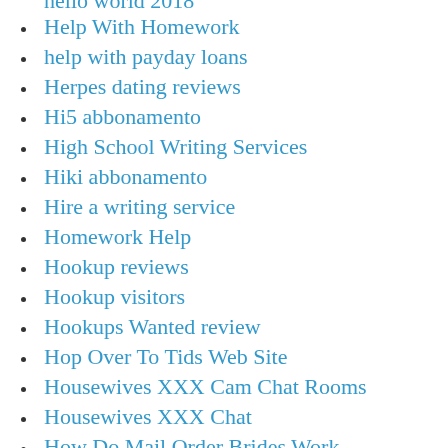hello world 2018 (partial, cut off at top)
Help With Homework
help with payday loans
Herpes dating reviews
Hi5 abbonamento
High School Writing Services
Hiki abbonamento
Hire a writing service
Homework Help
Hookup reviews
Hookup visitors
Hookups Wanted review
Hop Over To Tids Web Site
Housewives XXX Cam Chat Rooms
Housewives XXX Chat
How Do Mail Order Brides Work
How Much For Mail Order Bride (partial, cut off at bottom)